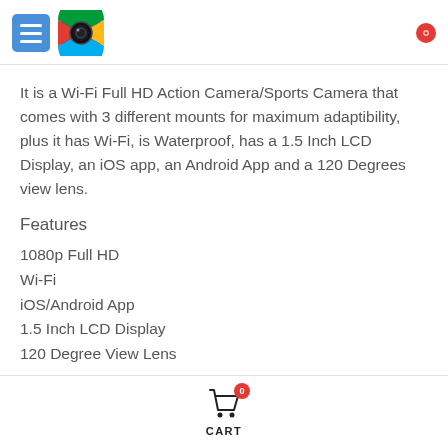[Figure (logo): Blue menu button with three horizontal white lines and a circular camera logo with South Africa flag colors]
[Figure (logo): Red circular badge/icon in top right corner]
It is a Wi-Fi Full HD Action Camera/Sports Camera that comes with 3 different mounts for maximum adaptibility, plus it has Wi-Fi, is Waterproof, has a 1.5 Inch LCD Display, an iOS app, an Android App and a 120 Degrees view lens.
Features
1080p Full HD
Wi-Fi
iOS/Android App
1.5 Inch LCD Display
120 Degree View Lens
[Figure (other): Shopping cart icon with red badge showing 0, labeled CART]